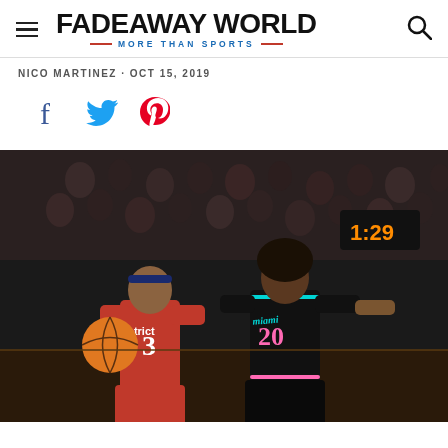FADEAWAY WORLD — MORE THAN SPORTS
NICO MARTINEZ · OCT 15, 2019
[Figure (other): Social sharing icons: Facebook (blue), Twitter (blue), Pinterest (red)]
[Figure (photo): NBA basketball game action photo showing a Washington Wizards player wearing number 3 in red jersey labeled 'district' driving with the ball against a Miami Heat player wearing number 20 in black Vice jersey, with a crowd in the background and a scoreboard showing 1:29]